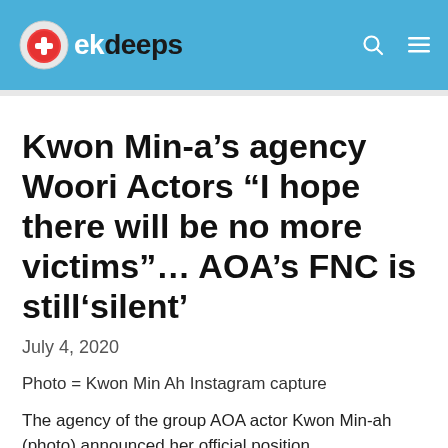ekdeeps
Kwon Min-a’s agency Woori Actors “I hope there will be no more victims”… AOA’s FNC is still‘silent’
July 4, 2020
Photo = Kwon Min Ah Instagram capture
The agency of the group AOA actor Kwon Min-ah (photo) announced her official position.